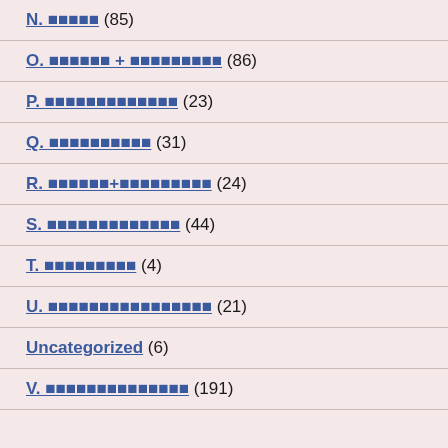N. █████ (85)
O. ██████ + █████████ (86)
P. █████████████ (23)
Q. ██████████ (31)
R. ██████+█████████ (24)
S. █████████████ (44)
T. █████████ (4)
U. ████████████████ (21)
Uncategorized (6)
V. ██████████████ (191)